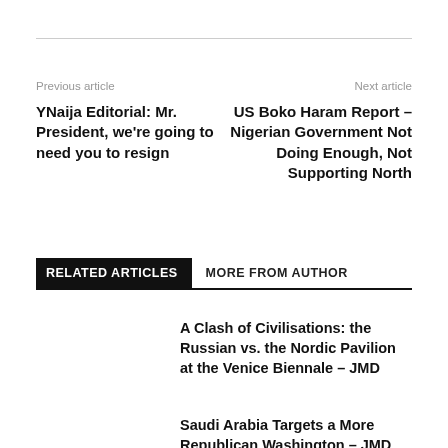Previous article
Next article
YNaija Editorial: Mr. President, we're going to need you to resign
US Boko Haram Report – Nigerian Government Not Doing Enough, Not Supporting North
RELATED ARTICLES
MORE FROM AUTHOR
A Clash of Civilisations: the Russian vs. the Nordic Pavilion at the Venice Biennale – JMD
Saudi Arabia Targets a More Republican Washington – JMD